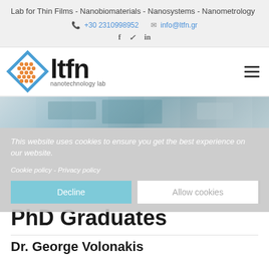Lab for Thin Films - Nanobiomaterials - Nanosystems - Nanometrology
+30 2310998952  info@ltfn.gr
[Figure (logo): LTFN nanotechnology lab logo with blue diamond shape and orange dot pattern, text 'ltfn' and 'nanotechnology lab']
[Figure (photo): Laboratory equipment hero image strip]
This website uses cookies to ensure you get the best experience on our website.
PhD Graduates
Dr. George Volonakis